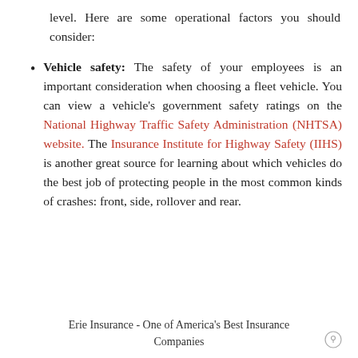level. Here are some operational factors you should consider:
Vehicle safety: The safety of your employees is an important consideration when choosing a fleet vehicle. You can view a vehicle's government safety ratings on the National Highway Traffic Safety Administration (NHTSA) website. The Insurance Institute for Highway Safety (IIHS) is another great source for learning about which vehicles do the best job of protecting people in the most common kinds of crashes: front, side, rollover and rear.
Erie Insurance - One of America's Best Insurance Companies